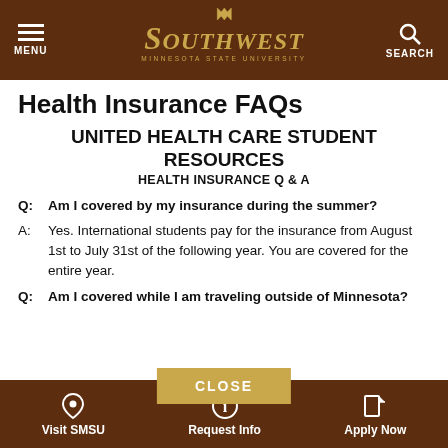MENU | SOUTHWEST MINNESOTA STATE UNIVERSITY | SEARCH
Health Insurance FAQs
UNITED HEALTH CARE STUDENT RESOURCES
HEALTH INSURANCE Q & A
Q:   Am I covered by my insurance during the summer?
A:   Yes.  International students pay for the insurance from August 1st to July 31st of the following year.  You are covered for the entire year.
Q:   Am I covered while I am traveling outside of Minnesota?
Visit SMSU | Request Info | Apply Now